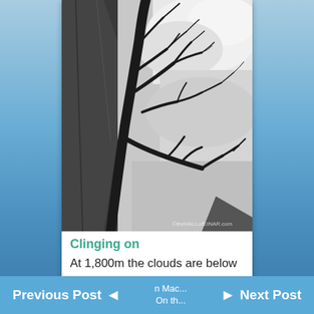[Figure (photo): Black and white photograph of a bare, gnarled tree clinging to rocky cliffs, with dramatic cloudy sky and misty landscape in the background. Watermark: ©theHALLofEINAR.com]
Clinging on
At 1,800m the clouds are below me
Previous Post ◄  n Mac... On th...  ► Next Post